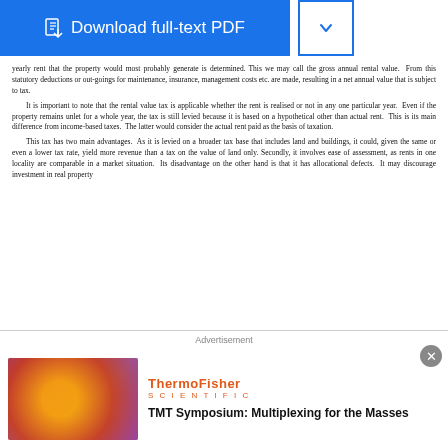[Figure (screenshot): Blue 'Download full-text PDF' button with a document icon, and a dropdown button with a chevron icon to its right]
yearly rent that the property would most probably generate is determined. This we may call the gross annual rental value. From this statutory deductions or out-goings for maintenance, insurance, management costs etc. are made, resulting in a net annual value that is subject to tax. It is important to note that the rental value tax is applicable whether the rent is realised or not in any one particular year. Even if the property remains unlet for a whole year, the tax is still levied because it is based on a hypothetical other than actual rent. This is its main difference from income-based taxes. The latter would consider the actual rent paid as the basis of taxation. This tax has two main advantages. As it is levied on a broader tax base that includes land and buildings, it could, given the same or even a lower tax rate, yield more revenue than a tax on the value of land only. Secondly, it involves ease of assessment, as rents in one locality are comparable in a market situation. Its disadvantage on the other hand is that it has allocational defects. It may discourage investment in real property
Advertisement
[Figure (infographic): ThermoFisher Scientific advertisement featuring a microscopy image with the headline 'TMT Symposium: Multiplexing for the Masses']